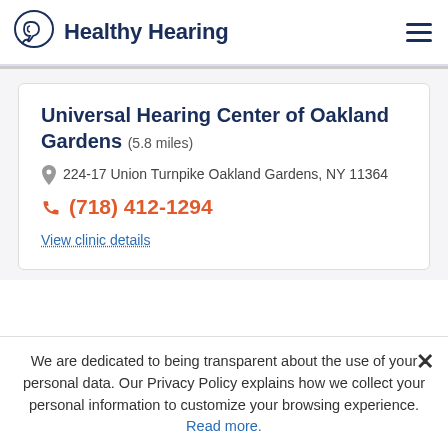Healthy Hearing
Universal Hearing Center of Oakland Gardens (5.8 miles)
224-17 Union Turnpike Oakland Gardens, NY 11364
(718) 412-1294
View clinic details
We are dedicated to being transparent about the use of your personal data. Our Privacy Policy explains how we collect your personal information to customize your browsing experience. Read more.